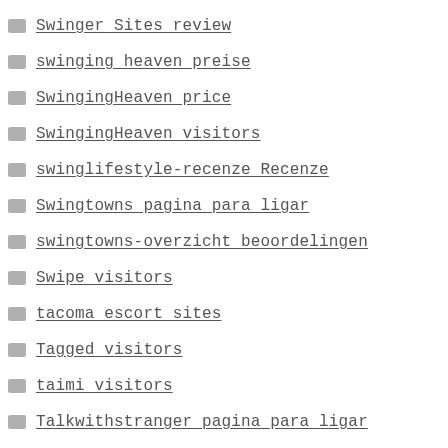Swinger Sites review
swinging heaven preise
SwingingHeaven price
SwingingHeaven visitors
swinglifestyle-recenze Recenze
Swingtowns pagina para ligar
swingtowns-overzicht beoordelingen
Swipe visitors
tacoma escort sites
Tagged visitors
taimi visitors
Talkwithstranger pagina para ligar
talkwithstranger overzicht beoordelingen